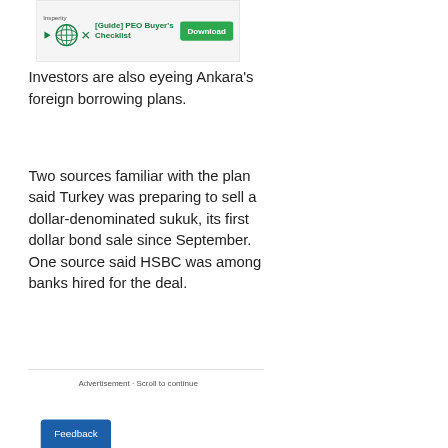[Figure (screenshot): Advertisement banner for Insperity [Guide] PEO Buyer's Checklist with Download button]
Investors are also eyeing Ankara's foreign borrowing plans.
Two sources familiar with the plan said Turkey was preparing to sell a dollar-denominated sukuk, its first dollar bond sale since September. One source said HSBC was among banks hired for the deal.
Advertisement · Scroll to continue
Feedback